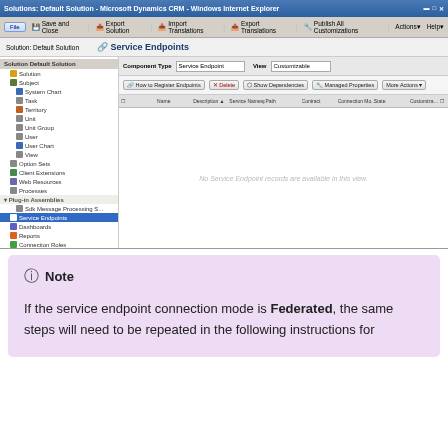[Figure (screenshot): Microsoft Dynamics CRM - Windows Internet Explorer showing Service Endpoints page with left navigation panel and empty grid]
Note
If the service endpoint connection mode is Federated, the same steps will need to be repeated in the following instructions for